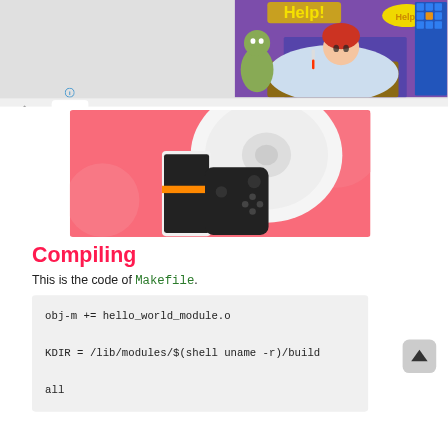[Figure (screenshot): Game screenshot showing 'Help!' text, a sick character in bed with a zombie, and a game UI with tiles, top-right of page]
[Figure (screenshot): Pink banner advertisement showing a robot vacuum cleaner and Nintendo Switch-style gaming console accessories on a pink background]
Compiling
This is the code of Makefile.
obj-m += hello_world_module.o

KDIR = /lib/modules/$(shell uname -r)/build

all